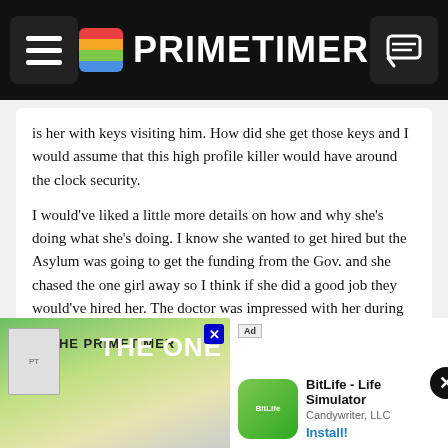PRIMETIMER
is her with keys visiting him. How did she get those keys and I would assume that this high profile killer would have around the clock security.

I would've liked a little more details on how and why she's doing what she's doing. I know she wanted to get hired but the Asylum was going to get the funding from the Gov. and she chased the one girl away so I think if she did a good job they would've hired her. The doctor was impressed with her during the interview no need for all the plotting.

I'm going to give it a few more episodes.
[Figure (screenshot): Advertisement banner showing Primetimer promo and BitLife Life Simulator app ad]